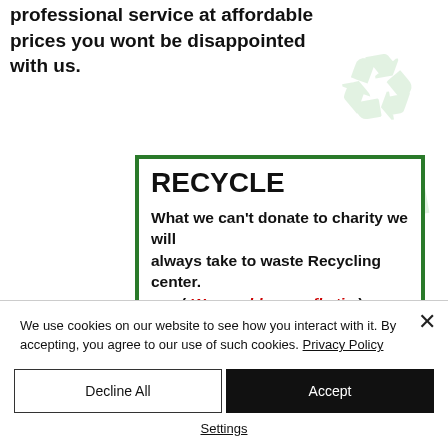professional service at affordable prices you wont be disappointed with us.
[Figure (other): Green recycle symbol watermark in the background top-right corner]
RECYCLE
What we can't donate to charity we will always take to waste Recycling center.
( We would never fly tip )
When using pristine property
We use cookies on our website to see how you interact with it. By accepting, you agree to our use of such cookies. Privacy Policy
Decline All
Accept
Settings